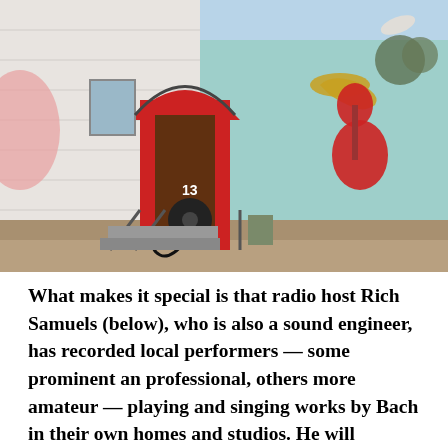[Figure (photo): Exterior of a building with a colorful mural painted on its white brick wall. The mural features musical instruments including a red guitar, a trumpet, and a round telephone dial, painted around a red arched doorway with the number 13. The building exterior is painted in teal/turquoise on the right side. There are metal railings leading to the entrance door. Trees and a street are visible in the background.]
What makes it special is that radio host Rich Samuels (below), who is also a sound engineer,  has recorded local performers — some prominent an professional, others more amateur — playing and singing works by Bach in their own homes and studios. He will premiere